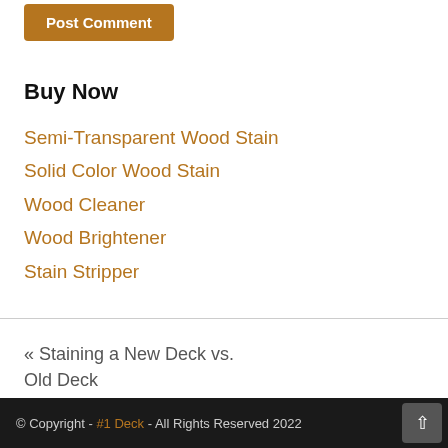[Figure (other): Post Comment button, brown/amber colored]
Buy Now
Semi-Transparent Wood Stain
Solid Color Wood Stain
Wood Cleaner
Wood Brightener
Stain Stripper
« Staining a New Deck vs. Old Deck
© Copyright - #1 Deck - All Rights Reserved 2022